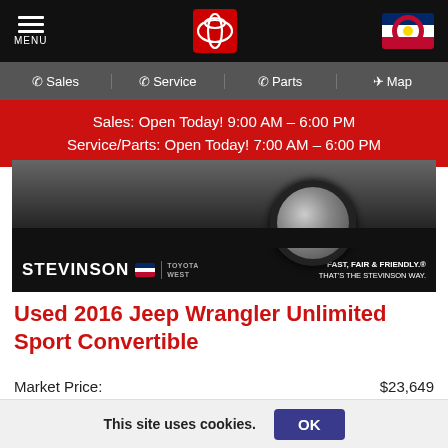MENU | Toyota logo | Colorado flag
Sales | Service | Parts | Map
Sales: Open Today! 9:00 AM - 6:00 PM
Service/Parts: Open Today! 7:00 AM - 6:00 PM
[Figure (photo): Vehicle photo showing wheel/tire close-up with Stevinson Toyota West branding bar at bottom reading FAST, FAIR & FRIENDLY. THAT'S THE STEVINSON WAY.]
Used 2016 Jeep Wrangler Unlimited Sport Convertible
|  |  |
| --- | --- |
| Market Price: | $23,649 |
| Delivery & Handling: | +$599 |
| Stevinson Price: | $24,248 |
This site uses cookies.